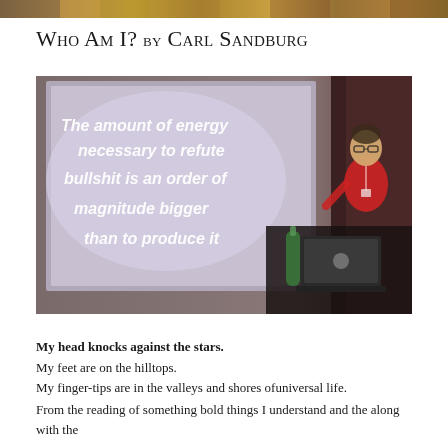Who Am I? by Carl Sandburg
[Figure (photo): A presenter in a red shirt standing at a podium/laptop at a conference, with a projection screen behind them showing the text: 'The amount of energy necessary to refute bullshit is an order of magnitude bigger than to produce it']
My head knocks against the stars.
My feet are on the hilltops.
My finger-tips are in the valleys and shores ofuniversal life.
From the reading of something bold things I understand and the along with the